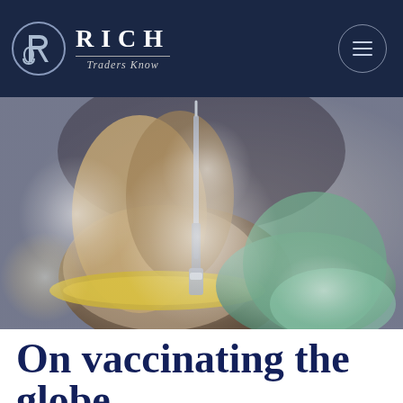RICH Traders Know
[Figure (photo): Close-up photo of gloved hands holding a medical syringe/needle, with bright light in the background, suggesting vaccine preparation.]
On vaccinating the globe